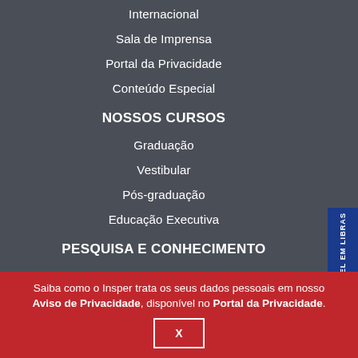Internacional
Sala de Imprensa
Portal da Privacidade
Conteúdo Especial
NOSSOS CURSOS
Graduação
Vestibular
Pós-graduação
Educação Executiva
PESQUISA E CONHECIMENTO
Publicações
Saiba como o Insper trata os seus dados pessoais em nosso Aviso de Privacidade, disponível no Portal da Privacidade.
X